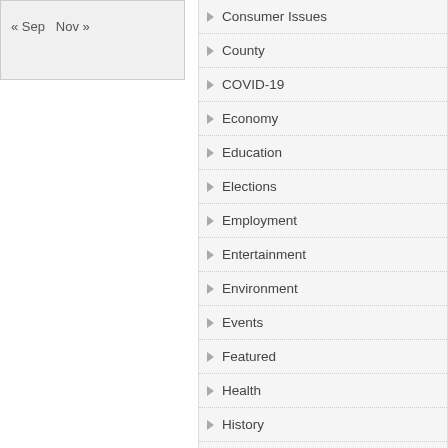« Sep  Nov »
Consumer Issues
County
COVID-19
Economy
Education
Elections
Employment
Entertainment
Environment
Events
Featured
Health
History
Holiday
Hot Topics
Housing
Lamar Chamber of Commerce